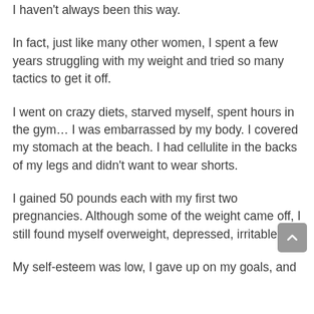I haven't always been this way.
In fact, just like many other women, I spent a few years struggling with my weight and tried so many tactics to get it off.
I went on crazy diets, starved myself, spent hours in the gym… I was embarrassed by my body. I covered my stomach at the beach. I had cellulite in the backs of my legs and didn't want to wear shorts.
I gained 50 pounds each with my first two pregnancies. Although some of the weight came off, I still found myself overweight, depressed, irritable.
My self-esteem was low, I gave up on my goals, and